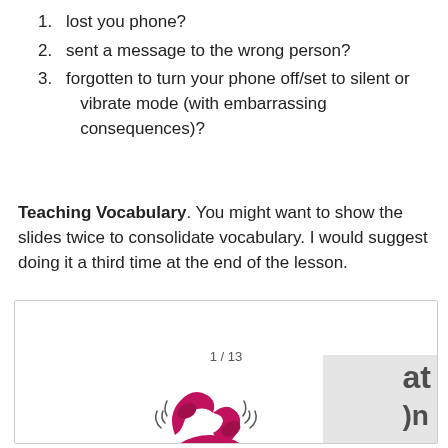1. lost you phone?
2. sent a message to the wrong person?
3. forgotten to turn your phone off/set to silent or vibrate mode (with embarrassing consequences)?
Teaching Vocabulary. You might want to show the slides twice to consolidate vocabulary. I would suggest doing it a third time at the end of the lesson.
[Figure (illustration): A presentation slide box showing slide 1/13 with a pink/magenta illustrated retro telephone ringing, and a partially visible gray box on the right with cut-off text.]